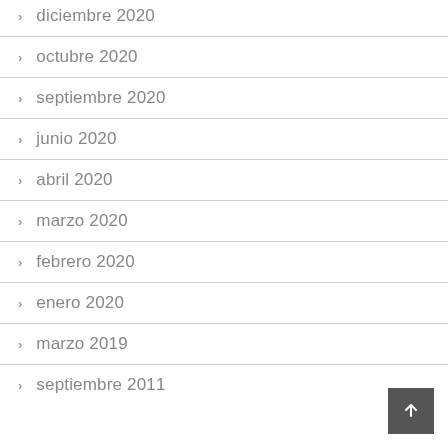diciembre 2020
octubre 2020
septiembre 2020
junio 2020
abril 2020
marzo 2020
febrero 2020
enero 2020
marzo 2019
septiembre 2011